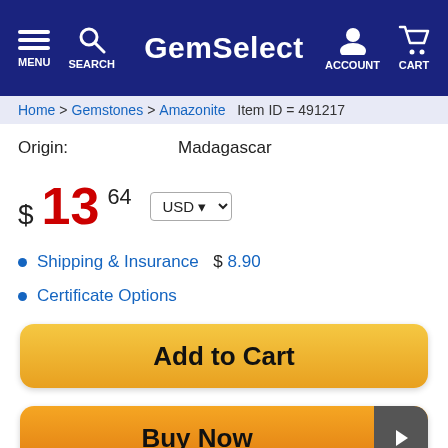GemSelect — MENU SEARCH ACCOUNT CART
Home > Gemstones > Amazonite   Item ID = 491217
Origin:   Madagascar
$ 13 64   USD
Shipping & Insurance $ 8.90
Certificate Options
Add to Cart
Buy Now
Product Description
Like  Share  Save  Tweet